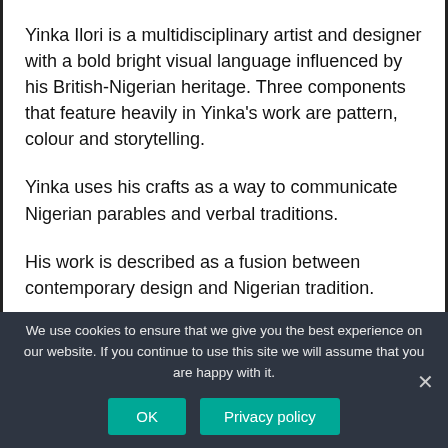Yinka Ilori is a multidisciplinary artist and designer with a bold bright visual language influenced by his British-Nigerian heritage. Three components that feature heavily in Yinka's work are pattern, colour and storytelling.
Yinka uses his crafts as a way to communicate Nigerian parables and verbal traditions.
His work is described as a fusion between contemporary design and Nigerian tradition.
We use cookies to ensure that we give you the best experience on our website. If you continue to use this site we will assume that you are happy with it.